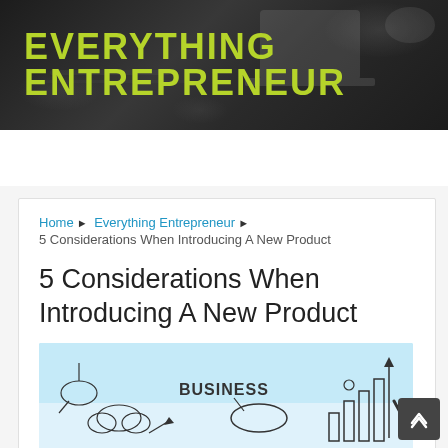EVERYTHING ENTREPRENEUR
MENU
Home ▶ Everything Entrepreneur ▶ 5 Considerations When Introducing A New Product
5 Considerations When Introducing A New Product
[Figure (illustration): Business concept doodle illustration with hand-drawn sketches of business icons, arrows, bar charts, and a hand holding a pen on a blue/white background]